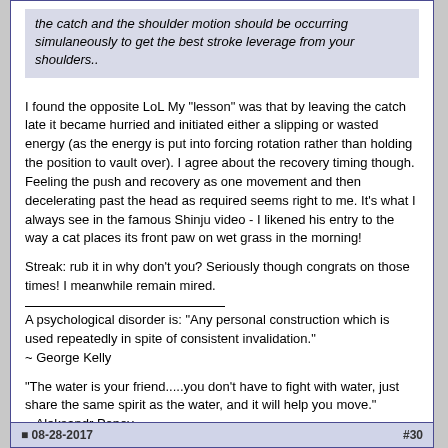the catch and the shoulder motion should be occurring simulaneously to get the best stroke leverage from your shoulders..
I found the opposite LoL My "lesson" was that by leaving the catch late it became hurried and initiated either a slipping or wasted energy (as the energy is put into forcing rotation rather than holding the position to vault over). I agree about the recovery timing though. Feeling the push and recovery as one movement and then decelerating past the head as required seems right to me. It's what I always see in the famous Shinju video - I likened his entry to the way a cat places its front paw on wet grass in the morning!
Streak: rub it in why don't you? Seriously though congrats on those times! I meanwhile remain mired.
A psychological disorder is: "Any personal construction which is used repeatedly in spite of consistent invalidation."
~ George Kelly
"The water is your friend.....you don't have to fight with water, just share the same spirit as the water, and it will help you move."
~ Aleksandr Popov
[Figure (other): Quote button with pencil/paper icon]
08-28-2017   #30